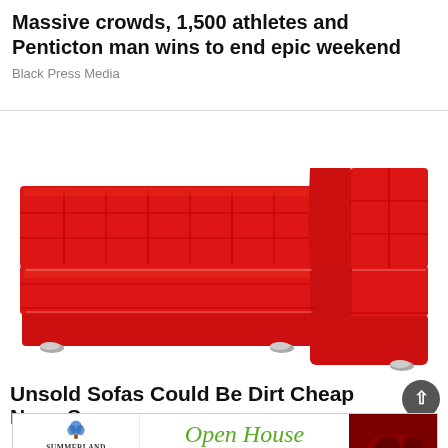Massive crowds, 1,500 athletes and Penticton man wins to end epic weekend
Black Press Media
[Figure (photo): Red vinyl L-shaped sectional sofa/booth seating set against a white background]
Unsold Sofas Could Be Dirt Cheap Now: See
[Figure (infographic): Summerland Seniors Village Open House advertisement banner. Sunday, September 11th 2:00pm - 4:00pm. Click Here button. Features Open House text in green script and image of a classic car.]